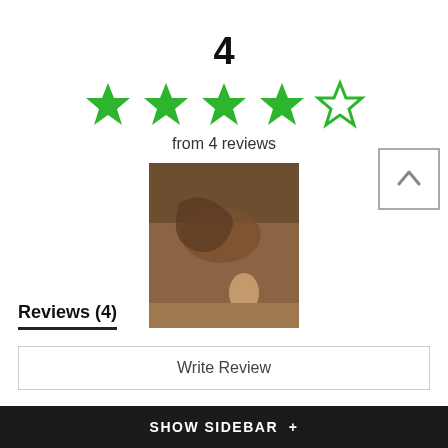4
[Figure (infographic): 4 out of 5 stars rating shown with 4 filled green stars and 1 empty green star outline]
from 4 reviews
[Figure (photo): Photo of a hand holding a small wooden or clay object, with another small piece on a wooden surface]
Reviews (4)
Write Review
SHOW SIDEBAR +